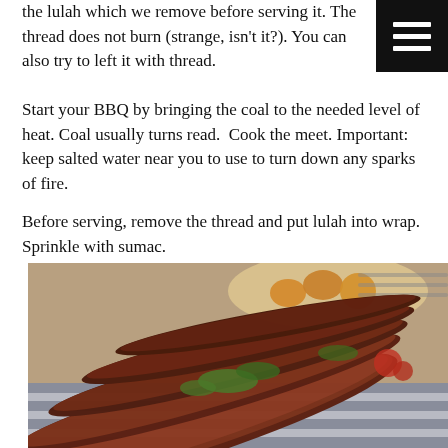the lulah which we remove before serving it. The thread does not burn (strange, isn't it?). You can also try to left it with thread.
Start your BBQ by bringing the coal to the needed level of heat. Coal usually turns read.  Cook the meet. Important: keep salted water near you to use to turn down any sparks of fire.
Before serving, remove the thread and put lulah into wrap. Sprinkle with sumac.
[Figure (photo): Close-up photo of grilled lulah kebabs (elongated minced meat skewers) on a plate with fresh herbs and garnish, with a dish of food visible in the background.]